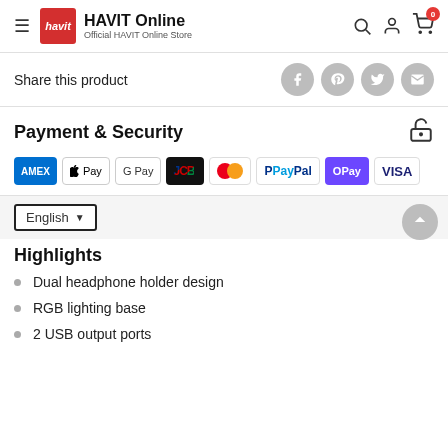HAVIT Online — Official HAVIT Online Store
Share this product
Payment & Security
[Figure (logo): Payment method icons: American Express, Apple Pay, Google Pay, JCB, Mastercard, PayPal, OPay, Visa]
English
Highlights
Dual headphone holder design
RGB lighting base
2 USB output ports